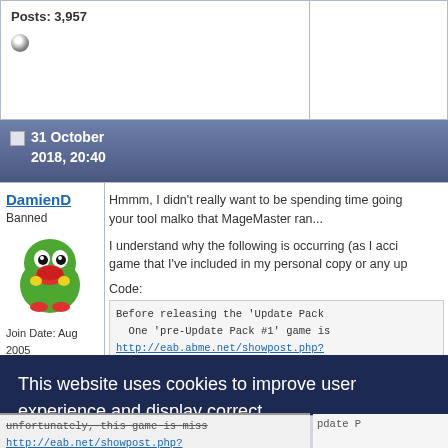Posts: 3,957
31 October 2018, 20:40
DamienD
Banned
Join Date: Aug 2005
Location: London /
Hmmm, I didn't really want to be spending time going... your tool malko that MageMaster ran...

I understand why the following is occurring (as I accid... game that I've included in my personal copy or any up...
Code:
Before releasing the 'Update Pack
One 'pre-Update Pack #1' game is
http://eab.abme.net/showpost.php?
This website uses cookies to improve user experience and display correct advertisement.
Learn more
Got it!
archive
or "Upd
Pack #1,
unfortunately, this game is miss
http://eab.net/showpost.php?